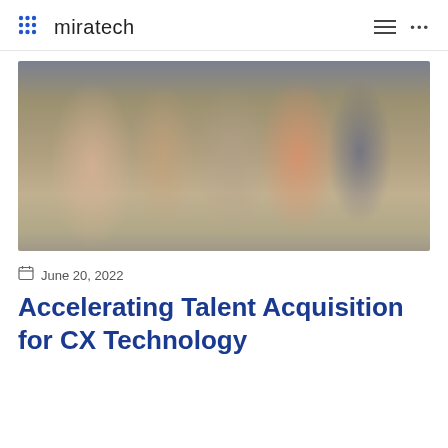miratech
[Figure (photo): Group of people standing together in an office or indoor setting, blurred/soft focus image used as a hero banner for the article.]
June 20, 2022
Accelerating Talent Acquisition for CX Technology